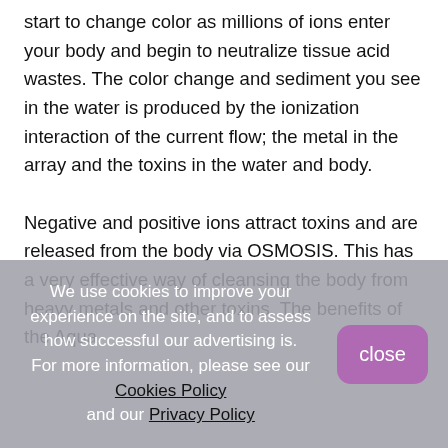start to change color as millions of ions enter your body and begin to neutralize tissue acid wastes. The color change and sediment you see in the water is produced by the ionization interaction of the current flow; the metal in the array and the toxins in the water and body.
Negative and positive ions attract toxins and are released from the body via OSMOSIS. This has a very effective way of cleansing the body from heavy metals and other toxins. The benefits of the Aqua
We use cookies to improve your experience on the site, and to assess how successful our advertising is. For more information, please see our Cookies Policy and our Privacy Policy